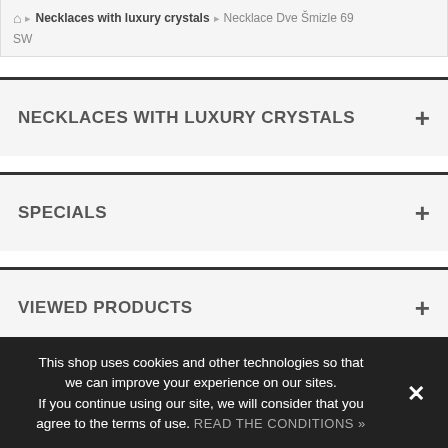🏠 > Necklaces with luxury crystals > Necklace Dve Šmizle 69 SW
NECKLACES WITH LUXURY CRYSTALS +
SPECIALS +
VIEWED PRODUCTS +
This shop uses cookies and other technologies so that we can improve your experience on our sites. If you continue using our site, we will consider that you agree to the terms of use. READ THE CONDITIONS »